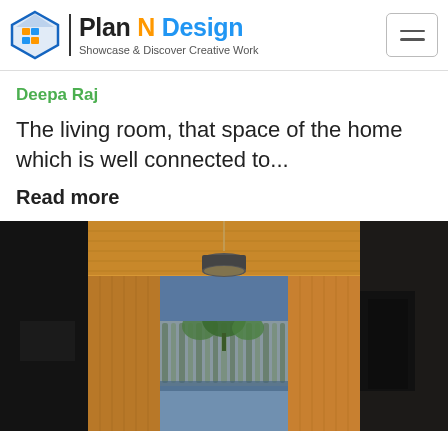Plan N Design — Showcase & Discover Creative Work
Deepa Raj
The living room, that space of the home which is well connected to...
Read more
[Figure (photo): Interior hallway/corridor with warm wood-panelled ceiling and walls, a round pendant light hanging from the ceiling, and a glass window at the end revealing a small courtyard with green plants and bamboo fencing, with dark walls on both sides.]